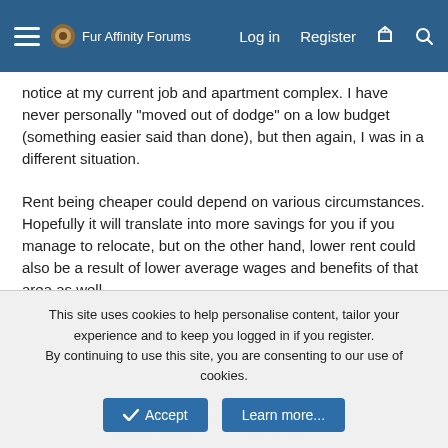Fur Affinity Forums — Log in | Register
notice at my current job and apartment complex. I have never personally "moved out of dodge" on a low budget (something easier said than done), but then again, I was in a different situation.

Rent being cheaper could depend on various circumstances. Hopefully it will translate into more savings for you if you manage to relocate, but on the other hand, lower rent could also be a result of lower average wages and benefits of that area as well.
Yakamaru, Ginza and BahgDaddy
Saiko
This site uses cookies to help personalise content, tailor your experience and to keep you logged in if you register.
By continuing to use this site, you are consenting to our use of cookies.